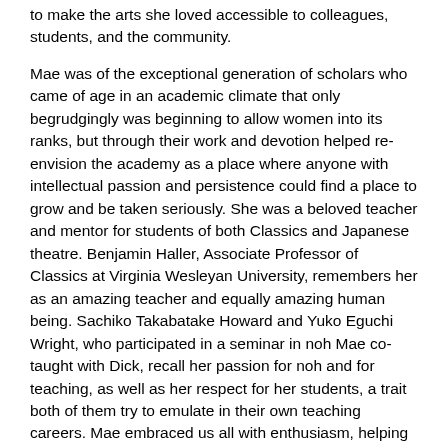to make the arts she loved accessible to colleagues, students, and the community.
Mae was of the exceptional generation of scholars who came of age in an academic climate that only begrudgingly was beginning to allow women into its ranks, but through their work and devotion helped re-envision the academy as a place where anyone with intellectual passion and persistence could find a place to grow and be taken seriously. She was a beloved teacher and mentor for students of both Classics and Japanese theatre. Benjamin Haller, Associate Professor of Classics at Virginia Wesleyan University, remembers her as an amazing teacher and equally amazing human being. Sachiko Takabatake Howard and Yuko Eguchi Wright, who participated in a seminar in noh Mae co-taught with Dick, recall her passion for noh and for teaching, as well as her respect for her students, a trait both of them try to emulate in their own teaching careers. Mae embraced us all with enthusiasm, helping us tap into our own intellectual passions and turn them into classes, events, and publications that enriched not only us but the broader intellectual and artistic communities around us.
Mae devoted her life to deepening our abilities to see across genres, times, cultures, and languages, to find ways to speak across disciplines with both profound grounding and lively curiosity.